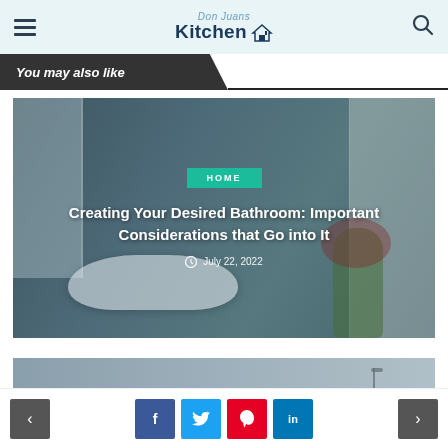Don Juans Kitchen
You may also like
[Figure (photo): Bathroom interior with bathtub, white cabinets, blue-grey walls, and plant. Overlay shows HOME badge, article title and date.]
Creating Your Desired Bathroom: Important Considerations that Go into It
July 22, 2022
[Figure (photo): Partial view of second article card showing a bathroom or interior scene, grey-blue tones.]
< f t p in >